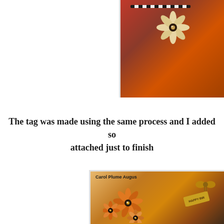[Figure (photo): Partial view of a handmade decorative card with red/orange background, flower embellishment, and polka dot ribbon, cropped at top-right of page]
The tag was made using the same process and I added so... attached just to finish...
[Figure (photo): Handmade birthday tag with orange flower embellishments, bow, beads, and stenciled designs. Credit label reads 'Carol Plume Augus...']